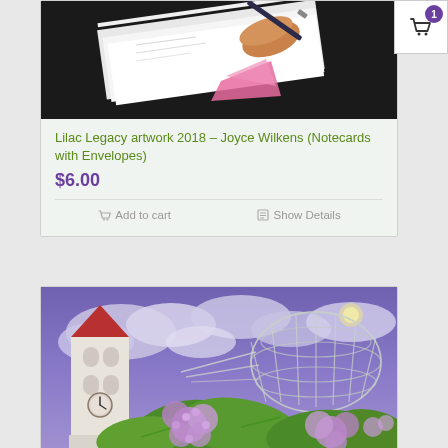[Figure (photo): Photo of notecards being signed by hand with a pen, on a dark background with pink envelope visible]
Lilac Legacy artwork 2018 – Joyce Wilkens (Notecards with Envelopes)
$6.00
Add to cart
Show Details
[Figure (photo): Painting of a clock tower with red roof and lilac flowers in the foreground, with a large greenhouse dome structure and cloudy purple-blue sky in the background]